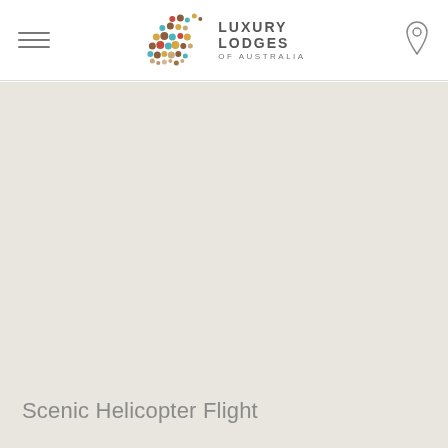Luxury Lodges of Australia
[Figure (logo): Luxury Lodges of Australia logo — kangaroo silhouette made of colourful dots (brown, teal, yellow, red, beige) with LUXURY LODGES OF AUSTRALIA text to the right]
[Figure (other): Large beige/off-white content area placeholder — main image area]
Scenic Helicopter Flight